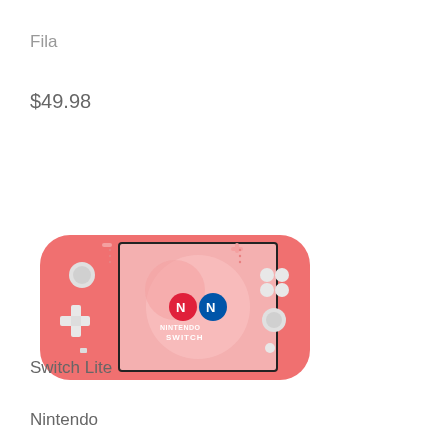Fila
$49.98
[Figure (photo): Nintendo Switch Lite handheld gaming console in coral/pink color, showing the Nintendo Switch logo on screen]
Switch Lite
Nintendo